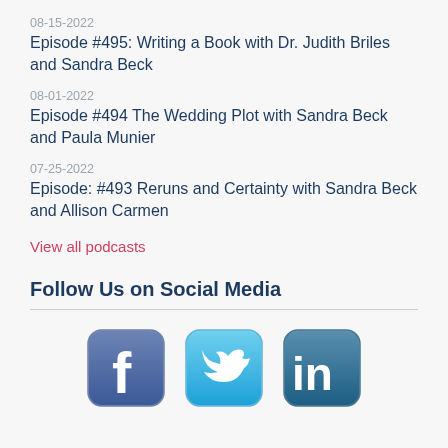08-15-2022
Episode #495: Writing a Book with Dr. Judith Briles and Sandra Beck
08-01-2022
Episode #494 The Wedding Plot with Sandra Beck and Paula Munier
07-25-2022
Episode: #493 Reruns and Certainty with Sandra Beck and Allison Carmen
View all podcasts
Follow Us on Social Media
[Figure (illustration): Social media icons for Facebook, Twitter, and LinkedIn]